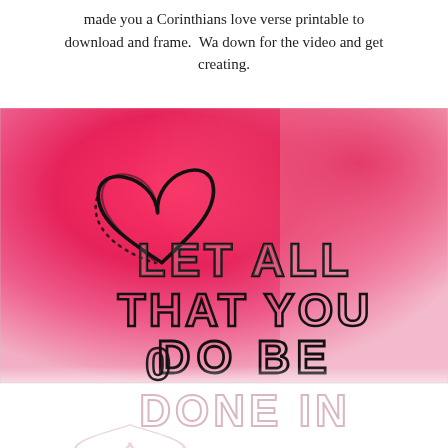made you a Corinthians love verse printable to download and frame.  Wa down for the video and get creating.
[Figure (illustration): Watercolor pink/magenta background with a hand-drawn heart outline and hand-lettered text reading 'LET ALL THAT YOU DO BE DONE IN' with the beginning of the word 'DONE IN' visible at the bottom. The image is partially cropped showing the bottom reflection/shadow.]